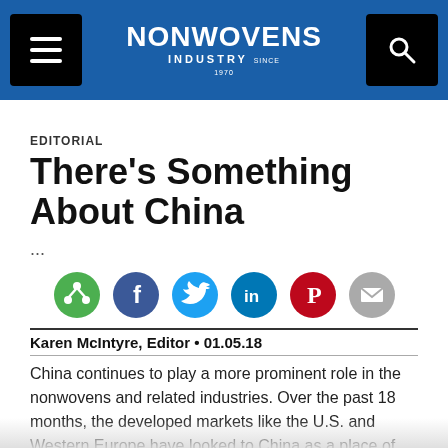NONWOVENS INDUSTRY
EDITORIAL
There's Something About China
...
[Figure (infographic): Social sharing icons: share (green), Facebook (blue), Twitter (light blue), LinkedIn (dark blue), Pinterest (red), Email (grey)]
Karen McIntyre, Editor • 01.05.18
China continues to play a more prominent role in the nonwovens and related industries. Over the past 18 months, the developed markets like the U.S. and Western Europe have looked to China as a place of price-sensitive...